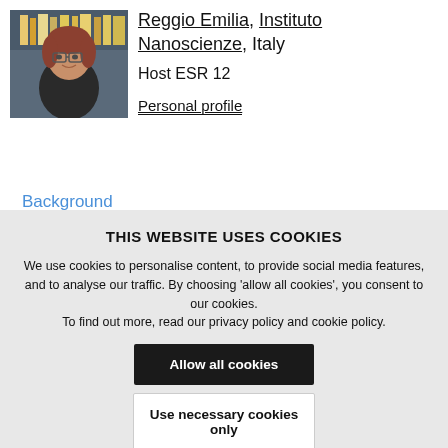[Figure (photo): Headshot photo of a woman with short reddish-brown hair and glasses, wearing a dark jacket, standing in front of bookshelves.]
Reggio Emilia, Instituto Nanoscienze, Italy
Host ESR 12
Personal profile
Background
THIS WEBSITE USES COOKIES
We use cookies to personalise content, to provide social media features, and to analyse our traffic. By choosing 'allow all cookies', you consent to our cookies.
To find out more, read our privacy policy and cookie policy.
Allow all cookies
Use necessary cookies only